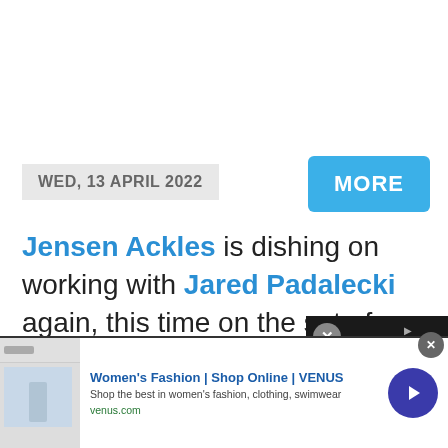WED, 13 APRIL 2022
MORE
Jensen Ackles is dishing on working with Jared Padalecki again, this time on the set of Walker!
If you didn't know, the 44-year-old
[Figure (screenshot): Advertisement banner: Women's Fashion | Shop Online | VENUS. Shop the best in women's fashion, clothing, swimwear. venus.com]
Women's Fashion | Shop Online | VENUS
Shop the best in women's fashion, clothing, swimwear
venus.com